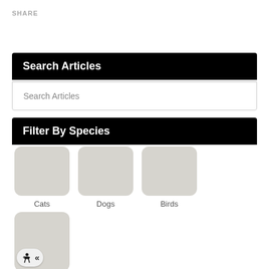SHARE
Search Articles
Search Articles
Filter By Species
[Figure (other): Grid of species filter buttons: Cats, Dogs, Birds, Small Mammals, Reptiles — each with a gray rounded square thumbnail image and label below]
Cats
Dogs
Birds
Small Mammals
Reptiles